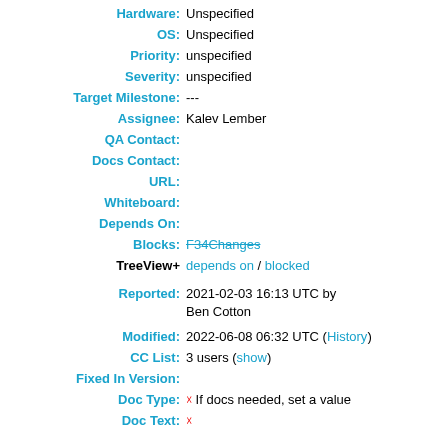Hardware: Unspecified
OS: Unspecified
Priority: unspecified
Severity: unspecified
Target Milestone: ---
Assignee: Kalev Lember
QA Contact:
Docs Contact:
URL:
Whiteboard:
Depends On:
Blocks: F34Changes
TreeView+ depends on / blocked
Reported: 2021-02-03 16:13 UTC by Ben Cotton
Modified: 2022-06-08 06:32 UTC (History)
CC List: 3 users (show)
Fixed In Version:
Doc Type: ☑ If docs needed, set a value
Doc Text: ☑